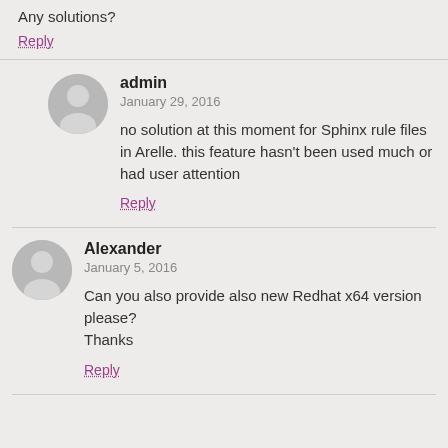Any solutions?
Reply
admin
January 29, 2016
no solution at this moment for Sphinx rule files in Arelle. this feature hasn't been used much or had user attention
Reply
Alexander
January 5, 2016
Can you also provide also new Redhat x64 version please?
Thanks
Reply